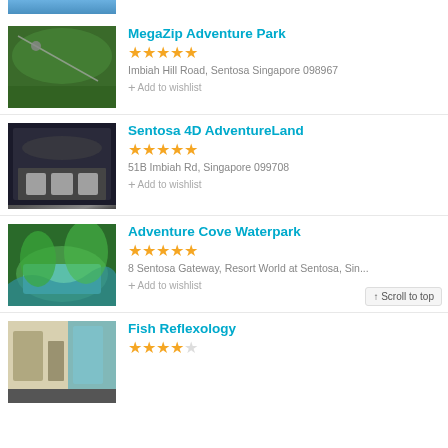[Figure (photo): Partial top image cropped at top of page]
MegaZip Adventure Park
★★★★★
Imbiah Hill Road, Sentosa Singapore 098967
+ Add to wishlist
Sentosa 4D AdventureLand
★★★★★
51B Imbiah Rd, Singapore 099708
+ Add to wishlist
Adventure Cove Waterpark
★★★★★
8 Sentosa Gateway, Resort World at Sentosa, Sin...
+ Add to wishlist
Fish Reflexology
★★★★☆